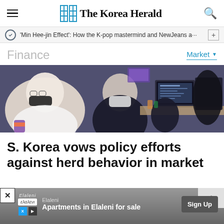The Korea Herald
'Min Hee-jin Effect': How the K-pop mastermind and NewJeans a···
Finance
Market
[Figure (photo): People working at trading desks with computers and monitors, wearing masks, in what appears to be a stock trading or financial office environment.]
S. Korea vows policy efforts against herd behavior in market
[Figure (screenshot): Advertisement banner: Elaleni - Apartments in Elaleni for sale. Sign Up button.]